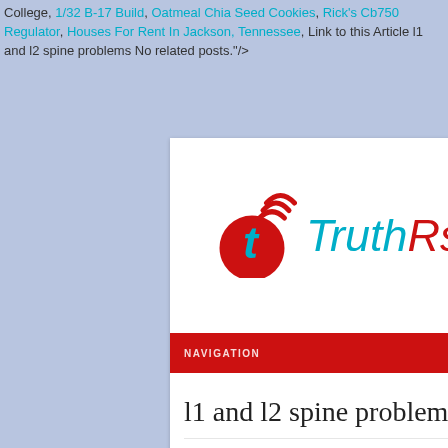College, 1/32 B-17 Build, Oatmeal Chia Seed Cookies, Rick's Cb750 Regulator, Houses For Rent In Jackson, Tennessee, Link to this Article l1 and l2 spine problems No related posts."/>
[Figure (screenshot): TruthRss website screenshot showing logo with red circle T icon, cyan TruthRss text, red navigation bar with NAVIGATION label and hamburger menu, and article title 'l1 and l2 spine problems' with By | Uncategorized | No Comments | metadata]